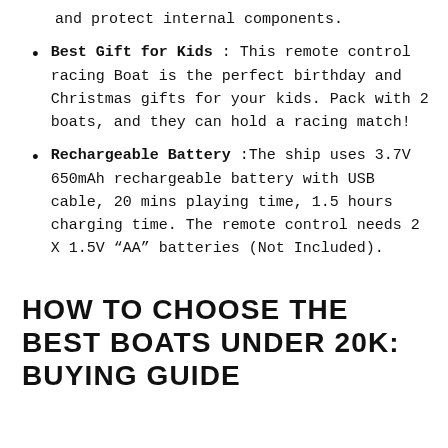and protect internal components.
Best Gift for Kids : This remote control racing Boat is the perfect birthday and Christmas gifts for your kids. Pack with 2 boats, and they can hold a racing match!
Rechargeable Battery :The ship uses 3.7V 650mAh rechargeable battery with USB cable, 20 mins playing time, 1.5 hours charging time. The remote control needs 2 X 1.5V “AA” batteries (Not Included).
HOW TO CHOOSE THE BEST BOATS UNDER 20K: BUYING GUIDE